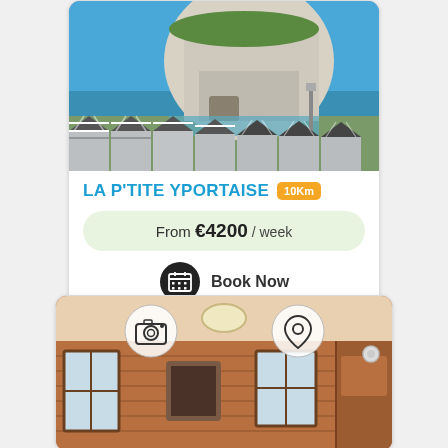[Figure (photo): Coastal cliff scene with white chalk cliffs, blue sky, sea, and beach huts/chalets with striped roofs in the foreground]
LA P'TITE YPORTAISE
10Km
From €4200 / week
Book Now
[Figure (photo): Interior of a wooden cabin/chalet showing warm wood-paneled walls, windows, a ceiling light, and furniture. Camera and location pin icons overlay the top.]